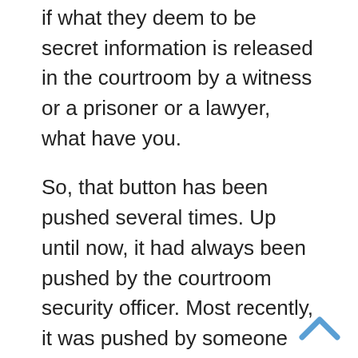if what they deem to be secret information is released in the courtroom by a witness or a prisoner or a lawyer, what have you.
So, that button has been pushed several times. Up until now, it had always been pushed by the courtroom security officer. Most recently, it was pushed by someone who the judge didn’t even know was listening, and we assume that it was the CIA, because it has classification authority, as they say in government speak, over this information. Now, to be fair, in every instance, the military judge has concluded